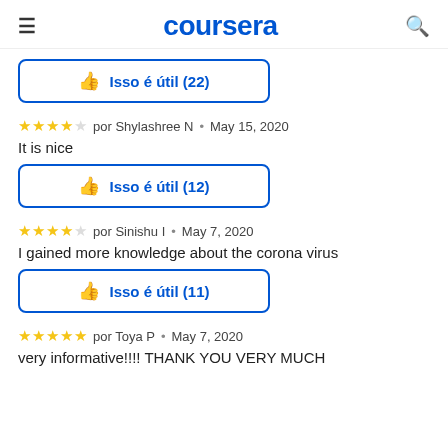coursera
[Figure (screenshot): Partial 'Isso é útil (12)' button at top of page (cropped)]
★★★★☆ por Shylashree N · May 15, 2020
It is nice
[Figure (screenshot): Button: Isso é útil (12)]
★★★★☆ por Sinishu I · May 7, 2020
I gained more knowledge about the corona virus
[Figure (screenshot): Button: Isso é útil (11)]
★★★★★ por Toya P · May 7, 2020
very informative!!!! THANK YOU VERY MUCH